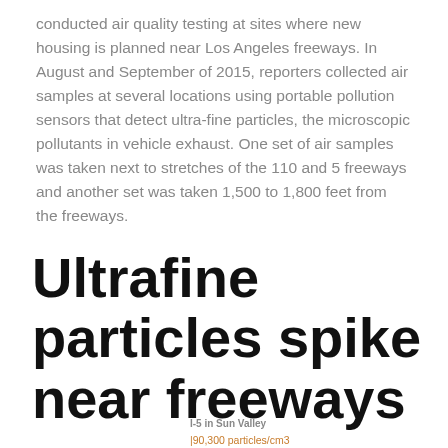conducted air quality testing at sites where new housing is planned near Los Angeles freeways. In August and September of 2015, reporters collected air samples at several locations using portable pollution sensors that detect ultra-fine particles, the microscopic pollutants in vehicle exhaust. One set of air samples was taken next to stretches of the 110 and 5 freeways and another set was taken 1,500 to 1,800 feet from the freeways.
Ultrafine particles spike near freeways
I-5 in Sun Valley
|90,300 particles/cm3